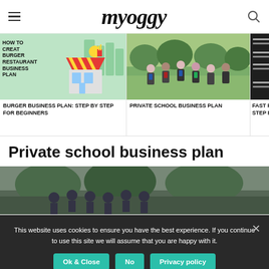myoggy
[Figure (screenshot): Three article thumbnail cards: Burger Business Plan card with illustrated burger restaurant, Private School Business Plan card with photo of school children running, Fast Food card partially visible with dark food menu background]
BURGER BUSINESS PLAN: STEP BY STEP FOR BEGINNERS
PRIVATE SCHOOL BUSINESS PLAN
FAST FOO... STEP BY S...
Private school business plan
[Figure (photo): Photo of students in school uniforms partially visible]
This website uses cookies to ensure you have the best experience. If you continue to use this site we will assume that you are happy with it.